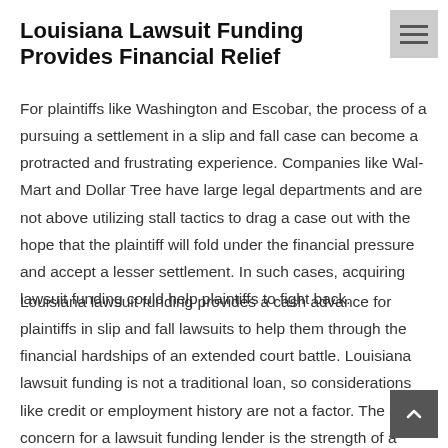Louisiana Lawsuit Funding Provides Financial Relief
For plaintiffs like Washington and Escobar, the process of a pursuing a settlement in a slip and fall case can become a protracted and frustrating experience. Companies like Wal-Mart and Dollar Tree have large legal departments and are not above utilizing stall tactics to drag a case out with the hope that the plaintiff will fold under the financial pressure and accept a lesser settlement. In such cases, acquiring lawsuit funding could help plaintiffs to fight back.
Louisiana lawsuit funding provides a cash advance for plaintiffs in slip and fall lawsuits to help them through the financial hardships of an extended court battle. Louisiana lawsuit funding is not a traditional loan, so considerations like credit or employment history are not a factor. The only concern for a lawsuit funding lender is the strength of a case.